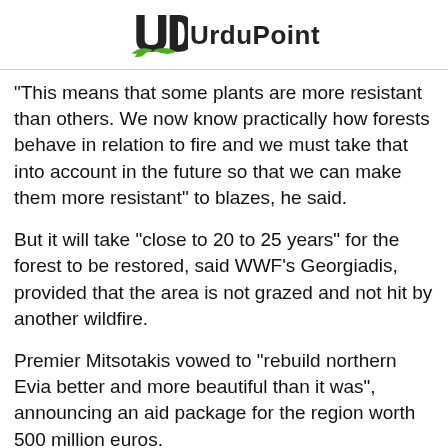UrduPoint
"This means that some plants are more resistant than others. We now know practically how forests behave in relation to fire and we must take that into account in the future so that we can make them more resistant" to blazes, he said.
But it will take "close to 20 to 25 years" for the forest to be restored, said WWF's Georgiadis, provided that the area is not grazed and not hit by another wildfire.
Premier Mitsotakis vowed to "rebuild northern Evia better and more beautiful than it was", announcing an aid package for the region worth 500 million euros.
The state has already removed unsavable trees in